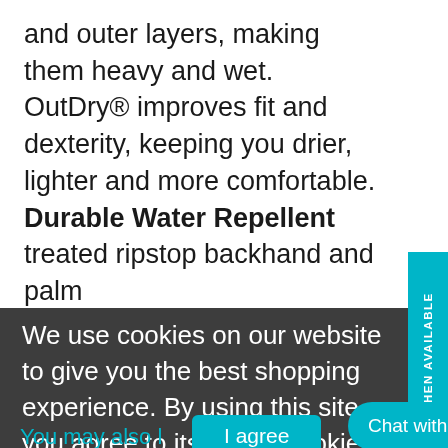and outer layers, making them heavy and wet. OutDry® improves fit and dexterity, keeping you drier, lighter and more comfortable. Durable Water Repellent treated ripstop backhand and palm AX Suede Echo patches for grip and durability Microfiber sweat wipe Velcro closure
We use cookies on our website to give you the best shopping experience. By using this site, you agree to its use of cookies.
You may also l...
I agree
Chat with us